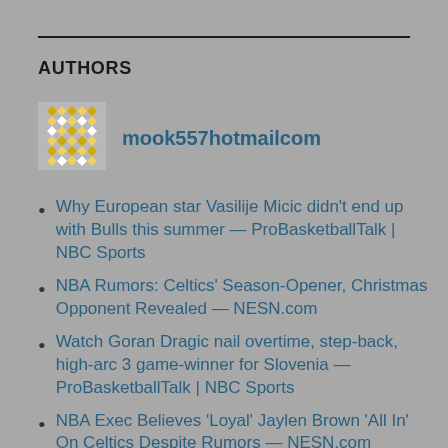AUTHORS
[Figure (illustration): Decorative avatar image — a pixel/diamond-pattern circular icon in gold/yellow tones]
mook557hotmailcom
Why European star Vasilije Micic didn't end up with Bulls this summer — ProBasketballTalk | NBC Sports
NBA Rumors: Celtics' Season-Opener, Christmas Opponent Revealed — NESN.com
Watch Goran Dragic nail overtime, step-back, high-arc 3 game-winner for Slovenia — ProBasketballTalk | NBC Sports
NBA Exec Believes 'Loyal' Jaylen Brown 'All In' On Celtics Despite Rumors — NESN.com